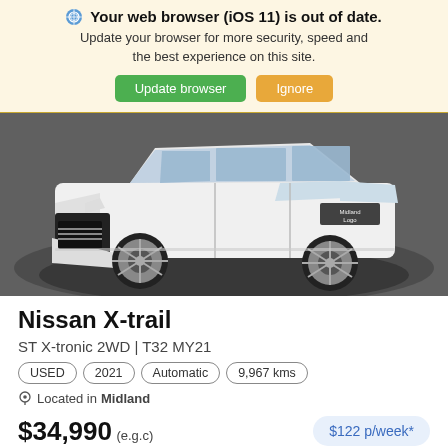Your web browser (iOS 11) is out of date. Update your browser for more security, speed and the best experience on this site. Update browser | Ignore
[Figure (photo): White Nissan X-trail SUV photographed from front-left angle on a dark circular platform showroom floor]
Nissan X-trail
ST X-tronic 2WD | T32 MY21
USED | 2021 | Automatic | 9,967 kms
Located in Midland
$34,990 (e.g.c)  $122 p/week*